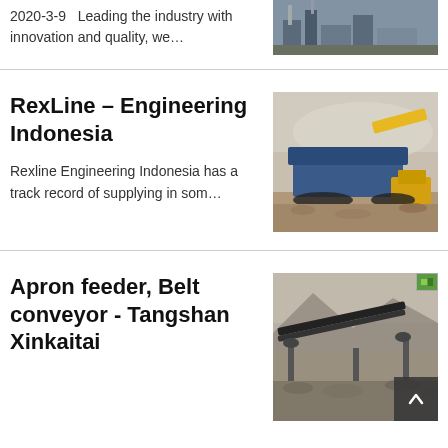2020-3-9   Leading the industry with innovation and quality, we...
[Figure (photo): Industrial machinery / plant equipment photo (partial top of page)]
RexLine – Engineering Indonesia
[Figure (photo): Heavy industrial crushing/screening equipment at a mining or quarry site]
Rexline Engineering Indonesia has a track record of supplying in som...
Apron feeder, Belt conveyor - Tangshan Xinkaitai
[Figure (photo): Conveyor belt equipment at a mining/quarry site, with scroll-to-top button overlay]